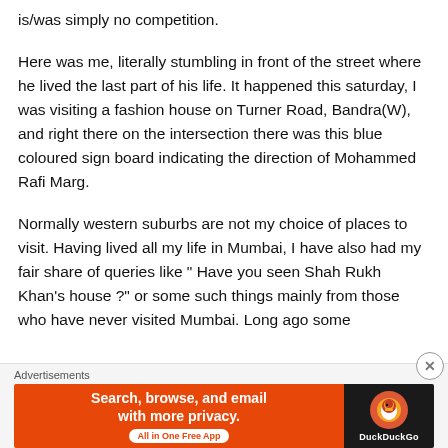is/was simply no competition.
Here was me, literally stumbling in front of the street where he lived the last part of his life. It happened this saturday, I was visiting a fashion house on Turner Road, Bandra(W), and right there on the intersection there was this blue coloured sign board indicating the direction of Mohammed Rafi Marg.
Normally western suburbs are not my choice of places to visit. Having lived all my life in Mumbai, I have also had my fair share of queries like " Have you seen Shah Rukh Khan's house ?" or some such things mainly from those who have never visited Mumbai. Long ago some
Advertisements
[Figure (other): DuckDuckGo advertisement banner: orange background on left with text 'Search, browse, and email with more privacy.' and 'All in One Free App' pill button; black background on right with DuckDuckGo duck logo and brand name.]